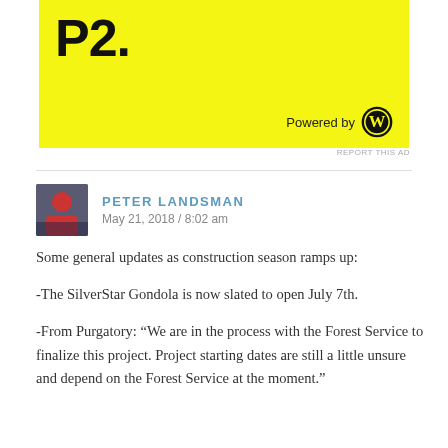[Figure (other): Yellow advertisement banner showing 'P2.' in bold black text with 'Powered by WordPress' logo at bottom right]
REPORT THIS AD
PETER LANDSMAN
May 21, 2018 / 8:02 am
Some general updates as construction season ramps up:
-The SilverStar Gondola is now slated to open July 7th.
-From Purgatory: “We are in the process with the Forest Service to finalize this project. Project starting dates are still a little unsure and depend on the Forest Service at the moment.”